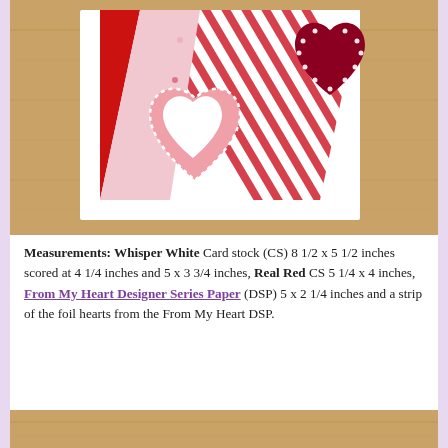[Figure (photo): Photo of Valentine's Day card making supplies on a wooden table: white card stock, pink patterned designer series paper with diagonal stripes, red and white striped paper, a pink heart cutout with dotted border, and a dark red/maroon decorative heart with pearl-like dotted border.]
Measurements: Whisper White Card stock (CS) 8 1/2 x 5 1/2 inches scored at 4 1/4 inches and 5 x 3 3/4 inches, Real Red CS 5 1/4 x 4 inches, From My Heart Designer Series Paper (DSP) 5 x 2 1/4 inches and a strip of the foil hearts from the From My Heart DSP.
[Figure (photo): Partial photo of wooden table surface visible at the bottom of the page.]